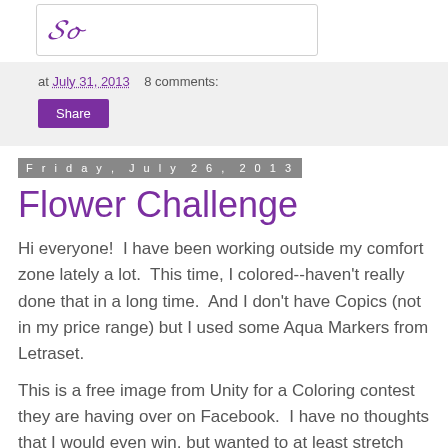[Figure (logo): Purple cursive logo/signature at top left in a white box with border]
at July 31, 2013   8 comments:
Share
Friday, July 26, 2013
Flower Challenge
Hi everyone!  I have been working outside my comfort zone lately a lot.  This time, I colored--haven't really done that in a long time.  And I don't have Copics (not in my price range) but I used some Aqua Markers from Letraset.
This is a free image from Unity for a Coloring contest they are having over on Facebook.  I have no thoughts that I would even win, but wanted to at least stretch myself and enter.
[Figure (photo): Partial view of a colored image at the bottom of the page]